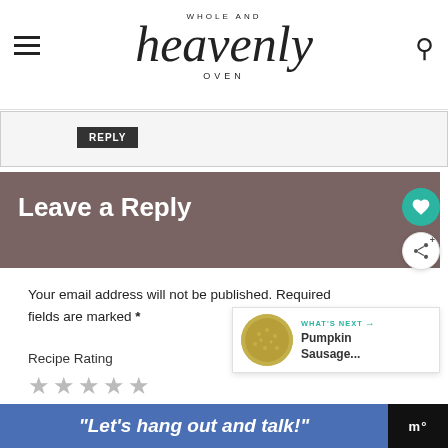Whole and Heavenly Oven
[Figure (screenshot): Reply button in a comment form strip]
Leave a Reply
Your email address will not be published. Required fields are marked *
Recipe Rating
[Figure (infographic): What's Next panel showing Pumpkin Sausage... thumbnail]
"Let’s hang out and talk!"